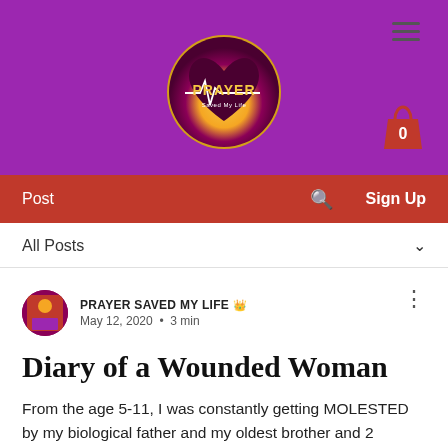[Figure (logo): Prayer Saved My Life logo inside a circle with heart and EKG line, on purple background with hamburger menu and shopping bag icon showing 0]
Post   🔍   Sign Up
All Posts
PRAYER SAVED MY LIFE 👑
May 12, 2020  •  3 min
Diary of a Wounded Woman
From the age 5-11, I was constantly getting MOLESTED by my biological father and my oldest brother and 2